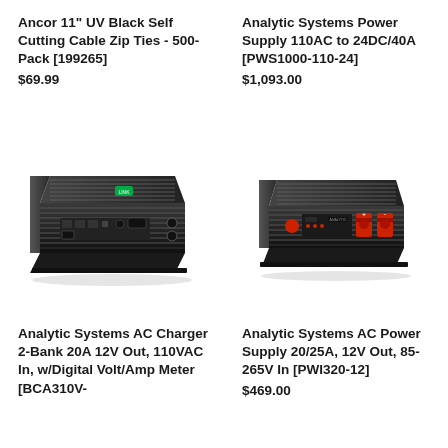Ancor 11" UV Black Self Cutting Cable Zip Ties - 500-Pack [199265]
$69.99
Analytic Systems Power Supply 110AC to 24DC/40A [PWS1000-110-24]
$1,093.00
[Figure (photo): Analytic Systems AC Charger 2-Bank device - black rectangular power electronics unit with heat sink fins and connectors]
[Figure (photo): Analytic Systems AC Power Supply - black rectangular power electronics unit with heat sink fins and red terminal connectors]
Analytic Systems AC Charger 2-Bank 20A 12V Out, 110VAC In, w/Digital Volt/Amp Meter [BCA310V-
Analytic Systems AC Power Supply 20/25A, 12V Out, 85-265V In [PWI320-12]
$469.00